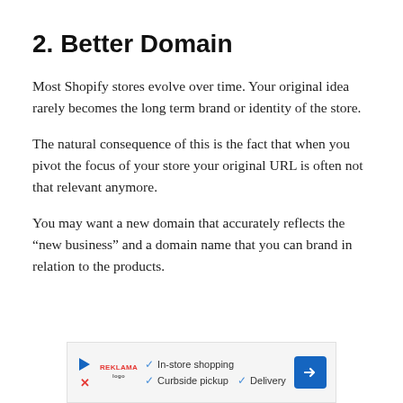2. Better Domain
Most Shopify stores evolve over time. Your original idea rarely becomes the long term brand or identity of the store.
The natural consequence of this is the fact that when you pivot the focus of your store your original URL is often not that relevant anymore.
You may want a new domain that accurately reflects the “new business” and a domain name that you can brand in relation to the products.
[Figure (other): Advertisement banner with play button, red X, brand logo, checkmarks listing In-store shopping, Curbside pickup, Delivery, and a blue directional arrow icon]